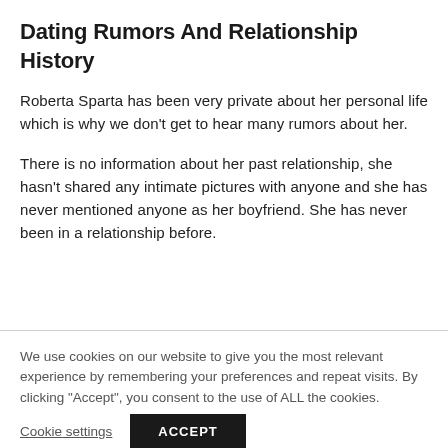Dating Rumors And Relationship History
Roberta Sparta has been very private about her personal life which is why we don’t get to hear many rumors about her.
There is no information about her past relationship, she hasn’t shared any intimate pictures with anyone and she has never mentioned anyone as her boyfriend. She has never been in a relationship before.
We use cookies on our website to give you the most relevant experience by remembering your preferences and repeat visits. By clicking “Accept”, you consent to the use of ALL the cookies.
Cookie settings
ACCEPT